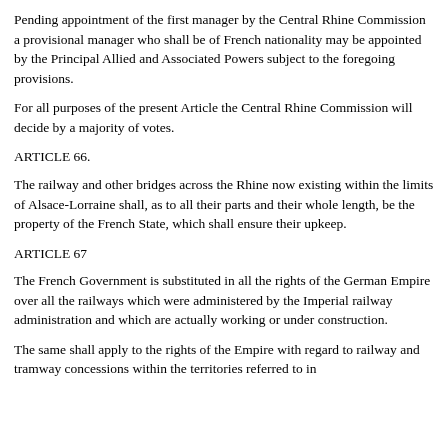Pending appointment of the first manager by the Central Rhine Commission a provisional manager who shall be of French nationality may be appointed by the Principal Allied and Associated Powers subject to the foregoing provisions.
For all purposes of the present Article the Central Rhine Commission will decide by a majority of votes.
ARTICLE 66.
The railway and other bridges across the Rhine now existing within the limits of Alsace-Lorraine shall, as to all their parts and their whole length, be the property of the French State, which shall ensure their upkeep.
ARTICLE 67
The French Government is substituted in all the rights of the German Empire over all the railways which were administered by the Imperial railway administration and which are actually working or under construction.
The same shall apply to the rights of the Empire with regard to railway and tramway concessions within the territories referred to in